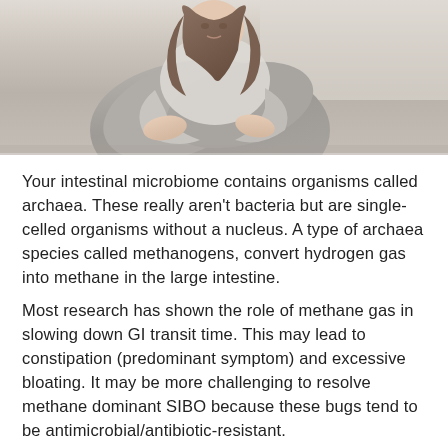[Figure (photo): A woman sitting with her knees drawn up, holding/hugging her abdomen area, wearing gray clothing, photographed against a light background. The image is in a light, slightly desaturated style.]
Your intestinal microbiome contains organisms called archaea. These really aren't bacteria but are single-celled organisms without a nucleus. A type of archaea species called methanogens, convert hydrogen gas into methane in the large intestine.
Most research has shown the role of methane gas in slowing down GI transit time. This may lead to constipation (predominant symptom) and excessive bloating. It may be more challenging to resolve methane dominant SIBO because these bugs tend to be antimicrobial/antibiotic-resistant.